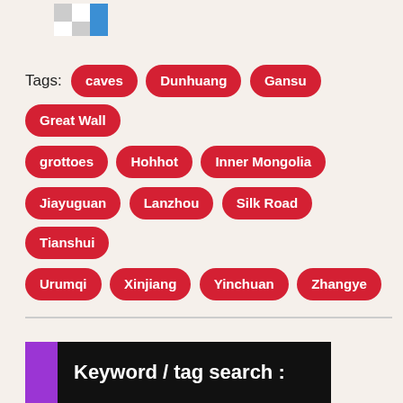[Figure (logo): Small checkerboard-style logo in top left area]
Tags: caves, Dunhuang, Gansu, Great Wall, grottoes, Hohhot, Inner Mongolia, Jiayuguan, Lanzhou, Silk Road, Tianshui, Urumqi, Xinjiang, Yinchuan, Zhangye
Keyword / tag search :